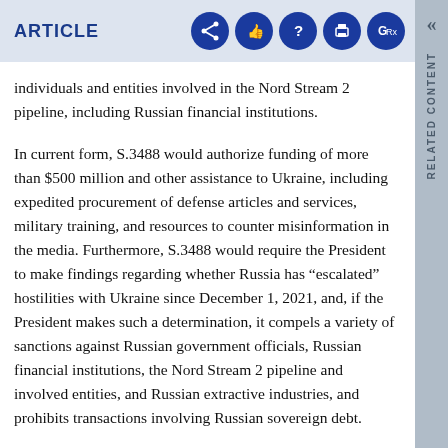ARTICLE
individuals and entities involved in the Nord Stream 2 pipeline, including Russian financial institutions.
In current form, S.3488 would authorize funding of more than $500 million and other assistance to Ukraine, including expedited procurement of defense articles and services, military training, and resources to counter misinformation in the media. Furthermore, S.3488 would require the President to make findings regarding whether Russia has “escalated” hostilities with Ukraine since December 1, 2021, and, if the President makes such a determination, it compels a variety of sanctions against Russian government officials, Russian financial institutions, the Nord Stream 2 pipeline and involved entities, and Russian extractive industries, and prohibits transactions involving Russian sovereign debt.
The authorized sanctions include property seizure, visa denials and cancellations, and other actions authorized by